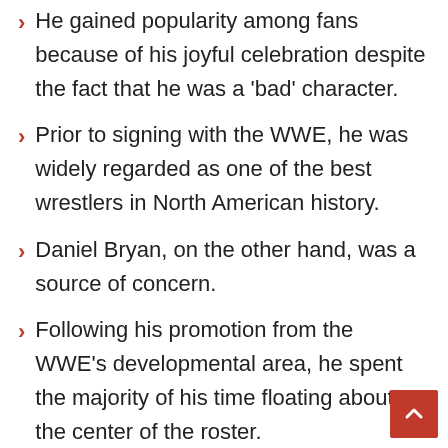He gained popularity among fans because of his joyful celebration despite the fact that he was a 'bad' character.
Prior to signing with the WWE, he was widely regarded as one of the best wrestlers in North American history.
Daniel Bryan, on the other hand, was a source of concern.
Following his promotion from the WWE's developmental area, he spent the majority of his time floating about the center of the roster.
He used it to defeat Andre Berto to win the World Heavyweight Championship (at the time the2 title in the company)